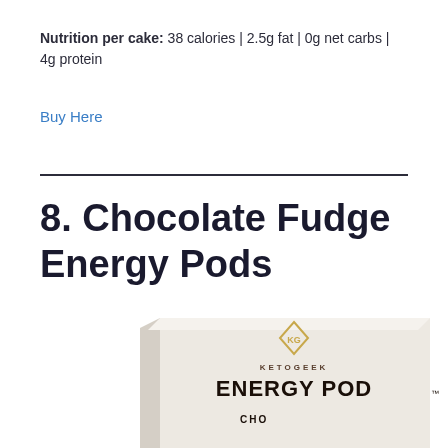Nutrition per cake: 38 calories | 2.5g fat | 0g net carbs | 4g protein
Buy Here
8. Chocolate Fudge Energy Pods
[Figure (photo): Product photo of KETOGEEK Energy Pods Chocolate Fudge box, white/cream colored packaging with gold diamond logo, partially cut off at bottom of page]